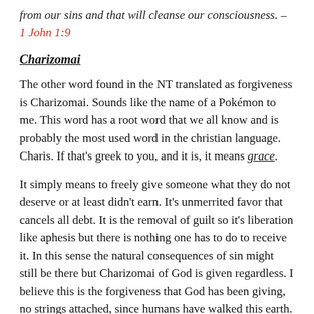from our sins and that will cleanse our consciousness. – 1 John 1:9
Charizomai
The other word found in the NT translated as forgiveness is Charizomai. Sounds like the name of a Pokémon to me. This word has a root word that we all know and is probably the most used word in the christian language. Charis. If that's greek to you, and it is, it means grace.
It simply means to freely give someone what they do not deserve or at least didn't earn. It's unmerrited favor that cancels all debt. It is the removal of guilt so it's liberation like aphesis but there is nothing one has to do to receive it. In this sense the natural consequences of sin might still be there but Charizomai of God is given regardless. I believe this is the forgiveness that God has been giving, no strings attached, since humans have walked this earth. God has